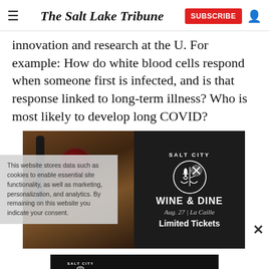The Salt Lake Tribune
innovation and research at the U. For example: How do white blood cells respond when someone first is infected, and is that response linked to long-term illness? Who is most likely to develop long COVID?
[Figure (photo): Salt City Wine & Dine advertisement showing wine bottle and glass with text 'SALT CITY WINE & DINE Aug. 27 | La Caille Limited Tickets'. A cookie consent overlay is partially visible on the left, and a close (X) button appears on the right.]
[Figure (photo): Second Salt City Wine & Dine advertisement banner showing wine glass logo, text 'SALT CITY WINE & DINE' and 'Aug. 27 | La Caille']